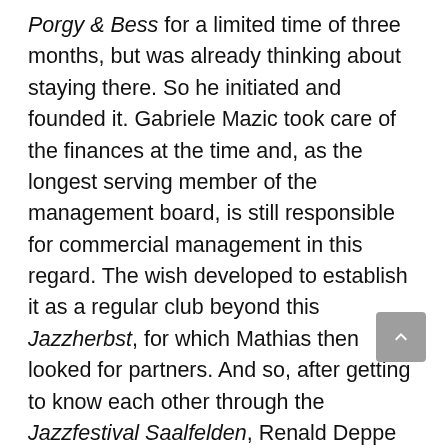Porgy & Bess for a limited time of three months, but was already thinking about staying there. So he initiated and founded it. Gabriele Mazic took care of the finances at the time and, as the longest serving member of the management board, is still responsible for commercial management in this regard. The wish developed to establish it as a regular club beyond this Jazzherbst, for which Mathias then looked for partners. And so, after getting to know each other through the Jazzfestival Saalfelden, Renald Deppe (who organized the Kulturspektakel – a kind of off-stage in the contemporary scene on Kirchengasse in Vienna) and I joined in.
In late autumn that year, the four of us founded the